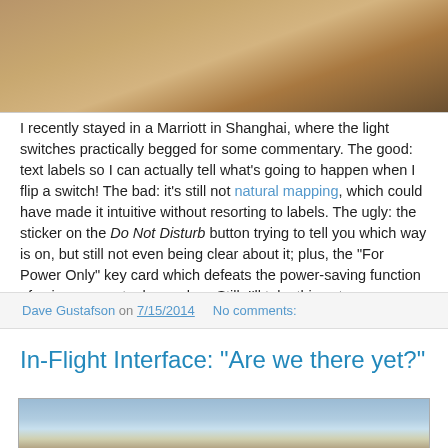[Figure (photo): Top portion of a photo showing what appears to be a brown/wooden surface, likely a hotel room element]
I recently stayed in a Marriott in Shanghai, where the light switches practically begged for some commentary. The good: text labels so I can actually tell what's going to happen when I flip a switch! The bad: it's still not natural mapping, which could have made it intuitive without resorting to labels. The ugly: the sticker on the Do Not Disturb button trying to tell you which way is on, but still not even being clear about it; plus, the "For Power Only" key card which defeats the power-saving function of using your actual room key. Still, I'll take this setup over Phoenix's mystery buttons!
Dave Gustafson on 7/15/2014   No comments:
In-Flight Interface: "Are we there yet?"
[Figure (photo): Bottom portion of a photo showing what appears to be an in-flight entertainment interface with blue circular elements]